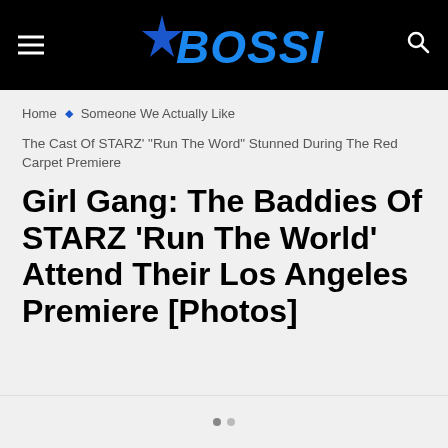BOSSIP
Home ◆ Someone We Actually Like
The Cast Of STARZ' "Run The Word" Stunned During The Red Carpet Premiere
Girl Gang: The Baddies Of STARZ 'Run The World' Attend Their Los Angeles Premiere [Photos]